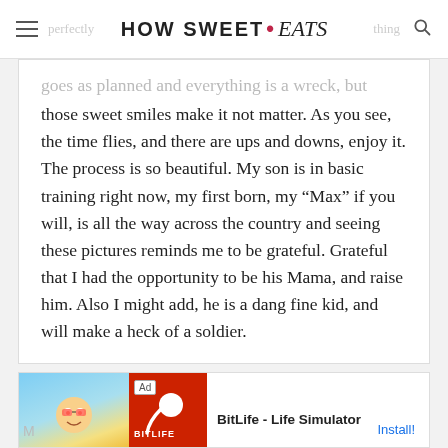HOW SWEET • eats
goes as planned and everything is a wreck, but those sweet smiles make it not matter. As you see, the time flies, and there are ups and downs, enjoy it. The process is so beautiful. My son is in basic training right now, my first born, my “Max” if you will, is all the way across the country and seeing these pictures reminds me to be grateful. Grateful that I had the opportunity to be his Mama, and raise him. Also I might add, he is a dang fine kid, and will make a heck of a soldier.
[Figure (screenshot): Advertisement banner for BitLife - Life Simulator app with Ad label, cartoon character image on blue background, BitLife logo on red background, and Install button]